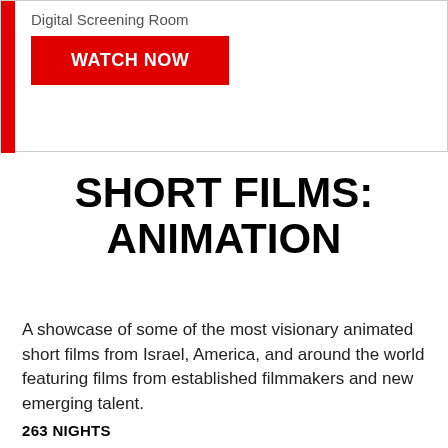[Figure (other): Banner with red vertical bar on left, text 'Digital Screening Room' and red WATCH NOW button]
SHORT FILMS: ANIMATION
A showcase of some of the most visionary animated short films from Israel, America, and around the world featuring films from established filmmakers and new emerging talent.
263 NIGHTS